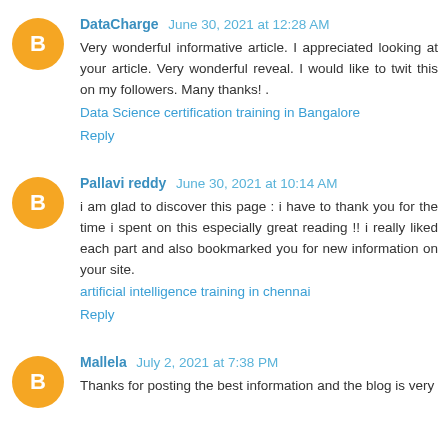DataCharge  June 30, 2021 at 12:28 AM
Very wonderful informative article. I appreciated looking at your article. Very wonderful reveal. I would like to twit this on my followers. Many thanks! .
Data Science certification training in Bangalore
Reply
Pallavi reddy  June 30, 2021 at 10:14 AM
i am glad to discover this page : i have to thank you for the time i spent on this especially great reading !! i really liked each part and also bookmarked you for new information on your site.
artificial intelligence training in chennai
Reply
Mallela  July 2, 2021 at 7:38 PM
Thanks for posting the best information and the blog is very